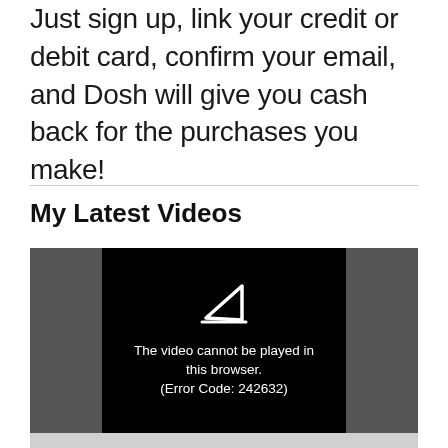Just sign up, link your credit or debit card, confirm your email, and Dosh will give you cash back for the purchases you make!
My Latest Videos
[Figure (screenshot): Video player showing error message: 'The video cannot be played in this browser. (Error Code: 242632)' with a play button icon on a black background with dark grey sidebars.]